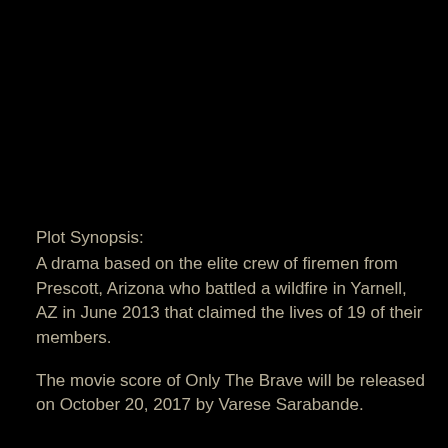Plot Synopsis:
A drama based on the elite crew of firemen from Prescott, Arizona who battled a wildfire in Yarnell, AZ in June 2013 that claimed the lives of 19 of their members.
The movie score of Only The Brave will be released on October 20, 2017 by Varese Sarabande.